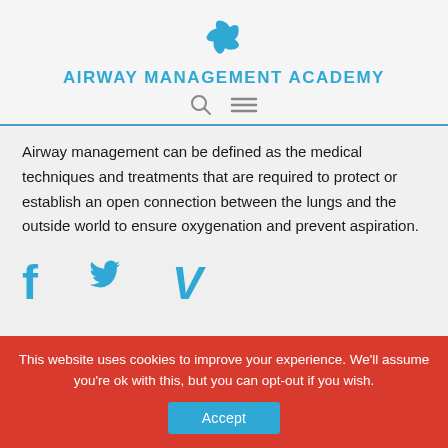[Figure (logo): Airway Management Academy logo - blue pinwheel/fan shape]
AIRWAY MANAGEMENT ACADEMY
[Figure (other): Navigation icons: search (magnifying glass) and hamburger menu]
Airway management can be defined as the medical techniques and treatments that are required to protect or establish an open connection between the lungs and the outside world to ensure oxygenation and prevent aspiration.
[Figure (other): Social media icons: Facebook (f), Twitter (bird), Vimeo (V)]
This website uses cookies to improve your experience. We'll assume you're ok with this, but you can opt-out if you wish.